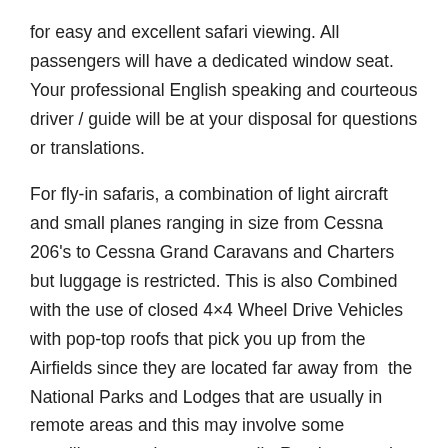for easy and excellent safari viewing. All passengers will have a dedicated window seat. Your professional English speaking and courteous driver / guide will be at your disposal for questions or translations.
For fly-in safaris, a combination of light aircraft and small planes ranging in size from Cessna 206's to Cessna Grand Caravans and Charters but luggage is restricted. This is also Combined with the use of closed 4×4 Wheel Drive Vehicles with pop-top roofs that pick you up from the Airfields since they are located far away from  the National Parks and Lodges that are usually in remote areas and this may involve some travelling on main tarmac or dirt Roads to reach the final destinations.
What to bring with you for a wildlife safari